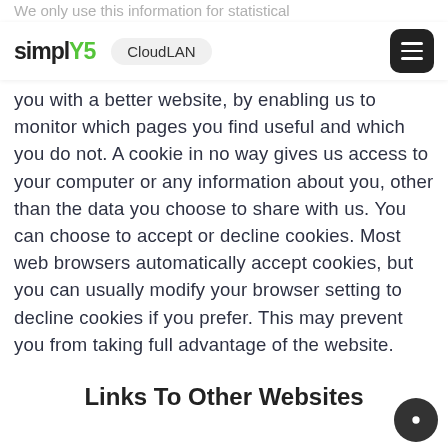We only use this information for statistical
[Figure (logo): Simply5 logo with 'CloudLAN' nav pill and hamburger menu button]
you with a better website, by enabling us to monitor which pages you find useful and which you do not. A cookie in no way gives us access to your computer or any information about you, other than the data you choose to share with us. You can choose to accept or decline cookies. Most web browsers automatically accept cookies, but you can usually modify your browser setting to decline cookies if you prefer. This may prevent you from taking full advantage of the website.
Links To Other Websites